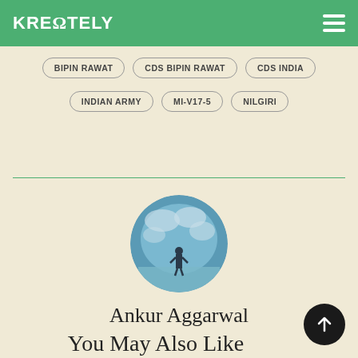KREONTELY
BIPIN RAWAT
CDS BIPIN RAWAT
CDS INDIA
INDIAN ARMY
MI-V17-5
NILGIRI
[Figure (photo): Circular profile avatar showing a person standing in front of a large globe, in blue tones]
Ankur Aggarwal
You May Also Like